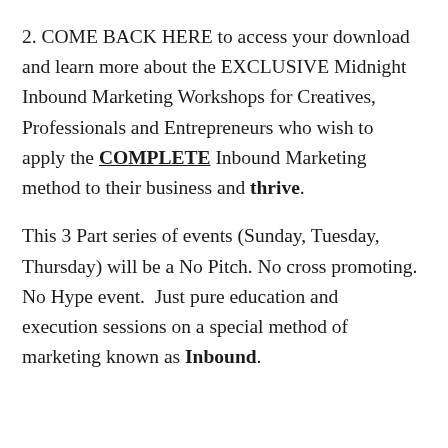2. COME BACK HERE to access your download and learn more about the EXCLUSIVE Midnight Inbound Marketing Workshops for Creatives, Professionals and Entrepreneurs who wish to apply the COMPLETE Inbound Marketing method to their business and thrive.
This 3 Part series of events (Sunday, Tuesday, Thursday) will be a No Pitch. No cross promoting. No Hype event.  Just pure education and execution sessions on a special method of marketing known as Inbound.